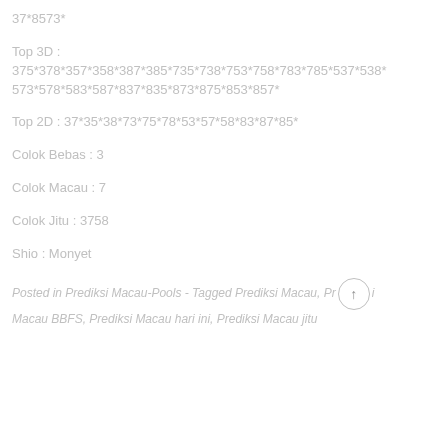37*8573*
Top 3D : 375*378*357*358*387*385*735*738*753*758*783*785*537*538* 573*578*583*587*837*835*873*875*853*857*
Top 2D : 37*35*38*73*75*78*53*57*58*83*87*85*
Colok Bebas : 3
Colok Macau : 7
Colok Jitu : 3758
Shio : Monyet
Posted in Prediksi Macau-Pools - Tagged Prediksi Macau, Prediksi Macau BBFS, Prediksi Macau hari ini, Prediksi Macau jitu